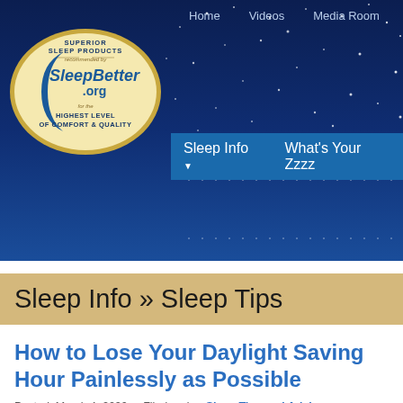Home   Videos   Media Room
[Figure (logo): SleepBetter.org logo — oval shape with text: SUPERIOR SLEEP PRODUCTS, recommended by SleepBetter .org, for the HIGHEST LEVEL OF COMFORT & QUALITY, with a crescent moon icon]
Sleep Info ▼   What's Your Zzzz
Sleep Info » Sleep Tips
How to Lose Your Daylight Saving Hour Painlessly as Possible
Posted: March 4, 2020    Filed under: Sleep Tips and Advice
The idea of beginning Daylight Saving Time is attractive in many ways. In spring and summer, days are longer, which means outside activities afte... marks the end of the dark days of winter.  The downside, however... hour of sleep.  It's like a nationwide jet lag...